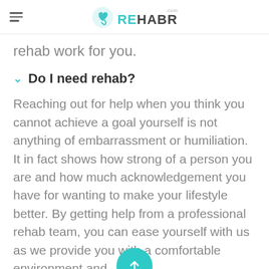REHABR.com
rehab work for you.
Do I need rehab?
Reaching out for help when you think you cannot achieve a goal yourself is not anything of embarrassment or humiliation. It in fact shows how strong of a person you are and how much acknowledgement you have for wanting to make your lifestyle better. By getting help from a professional rehab team, you can ease yourself with us as we provide you with a comfortable environment and professional guidance